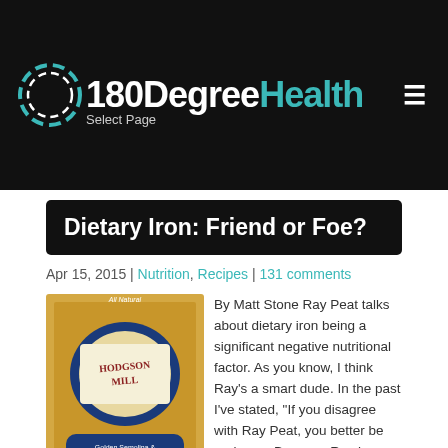180DegreeHealth — Select Page
Dietary Iron: Friend or Foe?
Apr 15, 2015 | Nutrition, Recipes | 131 comments
[Figure (photo): Hodgson Mill Golden Semolina & Extra Fancy Durum Pasta Flour bag]
By Matt Stone Ray Peat talks about dietary iron being a significant negative nutritional factor. As you know, I think Ray's a smart dude. In the past I've stated, "If you disagree with Ray Peat, you better be real sure. Because Ray has probably thought about it and researched it much